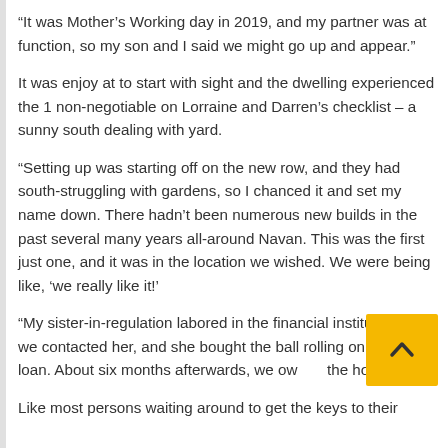“It was Mother’s Working day in 2019, and my partner was at function, so my son and I said we might go up and appear.”
It was enjoy at to start with sight and the dwelling experienced the 1 non-negotiable on Lorraine and Darren’s checklist – a sunny south dealing with yard.
“Setting up was starting off on the new row, and they had south-struggling with gardens, so I chanced it and set my name down. There hadn’t been numerous new builds in the past several many years all-around Navan. This was the first just one, and it was in the location we wished. We were being like, ‘we really like it!’
“My sister-in-regulation labored in the financial institution, so we contacted her, and she bought the ball rolling on the house loan. About six months afterwards, we ow the house.”
Like most persons waiting around to get the keys to their